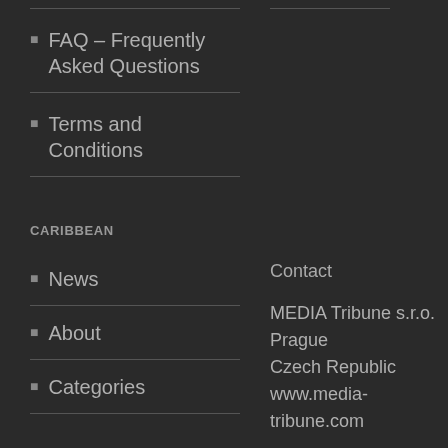FAQ – Frequently Asked Questions
Terms and Conditions
CARIBBEAN
Contact
News
About
Categories
MEDIA Tribune s.r.o. Prague Czech Republic www.media-tribune.com